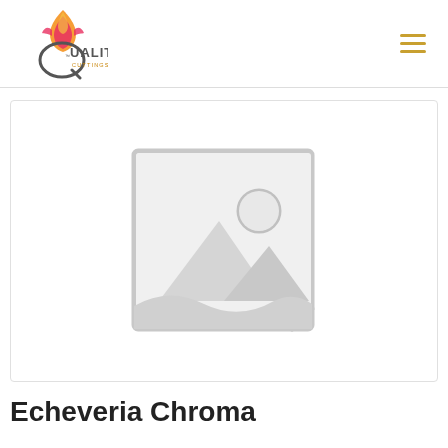Quality Cuttings Team
[Figure (photo): Placeholder image with grey landscape/mountain and sun icon inside a rounded rectangle frame]
Echeveria Chroma